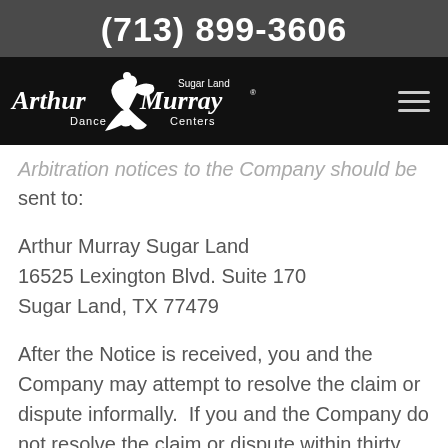(713) 899-3606
[Figure (logo): Arthur Murray Sugar Land Dance Centers logo in white on black background]
Arbitration notices to the Company should be sent to:
Arthur Murray Sugar Land
16525 Lexington Blvd. Suite 170
Sugar Land, TX 77479
After the Notice is received, you and the Company may attempt to resolve the claim or dispute informally.  If you and the Company do not resolve the claim or dispute within thirty (30) days after the Notice is received, either party may begin arbitration proceedings. The amount of